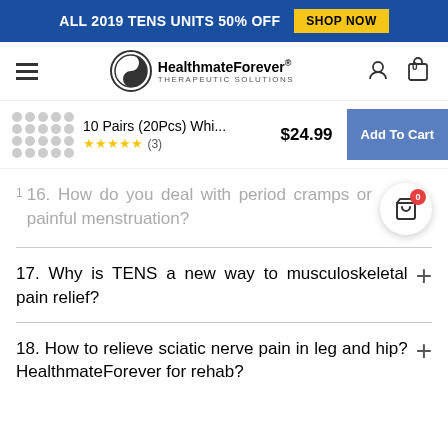ALL 2019 TENS UNITS 50% OFF  SHOP NOW
[Figure (logo): HealthmateForever Therapeutic Solutions logo with yin-yang symbol]
10 Pairs (20Pcs) Whi... $24.99 ★★★★★ (3) Add To Cart
16. How do you deal with period cramps or painful menstruation?
17. Why is TENS a new way to musculoskeletal pain relief?
18. How to relieve sciatic nerve pain in leg and hip? HealthmateForever for rehab?